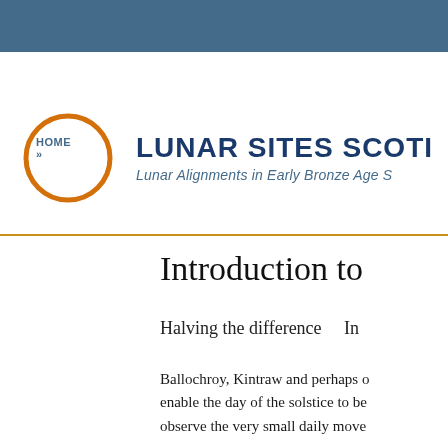HOME »
[Figure (logo): Orange circle logo for Lunar Sites Scotland website, with site title 'LUNAR SITES SCOT...' and subtitle 'Lunar Alignments in Early Bronze Age S...']
Introduction to
Halving the difference    In
Ballochroy, Kintraw and perhaps o... enable the day of the solstice to be... observe the very small daily move...